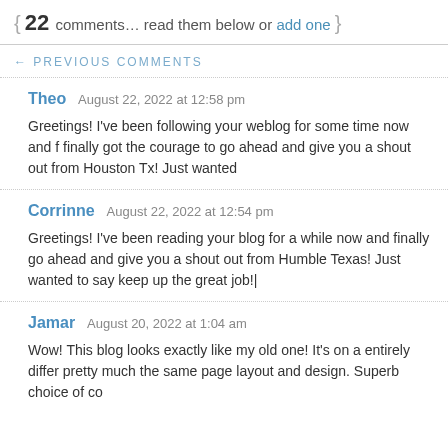{ 22 comments… read them below or add one }
← PREVIOUS COMMENTS
Theo   August 22, 2022 at 12:58 pm
Greetings! I've been following your weblog for some time now and finally got the courage to go ahead and give you a shout out from Houston Tx! Just wanted to
Corrinne   August 22, 2022 at 12:54 pm
Greetings! I've been reading your blog for a while now and finally got the courage to go ahead and give you a shout out from Humble Texas! Just wanted to say keep up the great job!|
Jamar   August 20, 2022 at 1:04 am
Wow! This blog looks exactly like my old one! It's on a entirely different topic but it has pretty much the same page layout and design. Superb choice of co